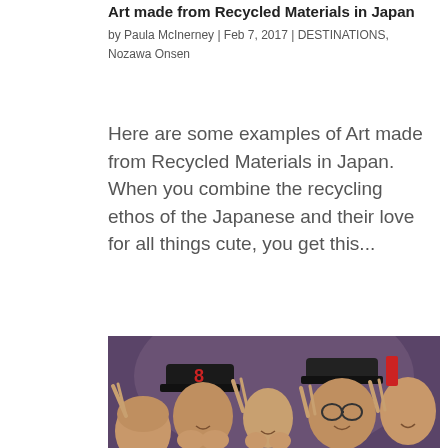Art made from Recycled Materials in Japan
by Paula McInerney | Feb 7, 2017 | DESTINATIONS, Nozawa Onsen
Here are some examples of Art made from Recycled Materials in Japan. When you combine the recycling ethos of the Japanese and their love for all things cute, you get this...
[Figure (photo): Group of Japanese children making peace signs with their fingers, smiling at the camera, with a purple/dark background]